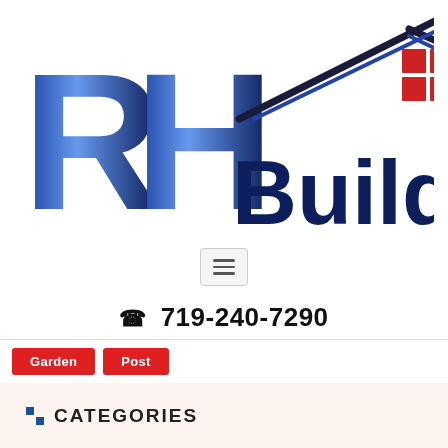[Figure (logo): RH Builders company logo with large bold dark navy 'RH' letters and 'Builders' text, with a house roof graphic above 'Builders' and a red window grid icon on the roof]
[Figure (other): Hamburger menu button icon (three horizontal lines) inside a rounded rectangle border]
719-240-7290
Garden   Post
CATEGORIES